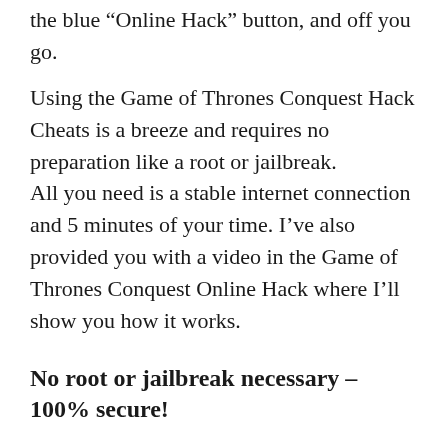the blue “Online Hack” button, and off you go.
Using the Game of Thrones Conquest Hack Cheats is a breeze and requires no preparation like a root or jailbreak.
All you need is a stable internet connection and 5 minutes of your time. I’ve also provided you with a video in the Game of Thrones Conquest Online Hack where I’ll show you how it works.
No root or jailbreak necessary – 100% secure!
You do not need to download and install Game of Thrones Conquest mod. Everything works completely online and is therefore safe. We use